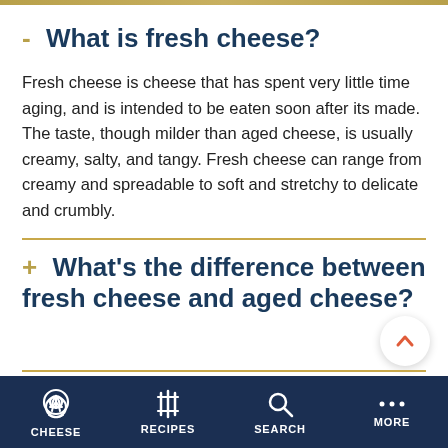- What is fresh cheese?
Fresh cheese is cheese that has spent very little time aging, and is intended to be eaten soon after its made. The taste, though milder than aged cheese, is usually creamy, salty, and tangy. Fresh cheese can range from creamy and spreadable to soft and stretchy to delicate and crumbly.
+ What's the difference between fresh cheese and aged cheese?
CHEESE   RECIPES   SEARCH   MORE